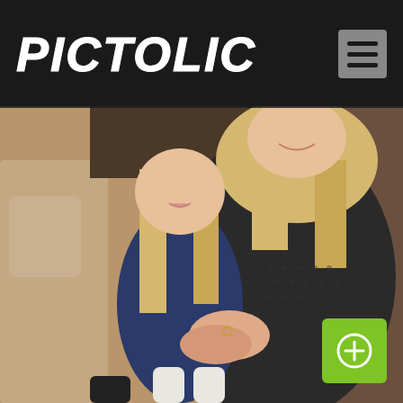PICTOLIC
[Figure (photo): A woman with blonde hair wearing a dark knit sweater hugging a young blonde girl in a blue dress, both seated on a couch. The child wears white tights, the woman wears black tights. Their hands are clasped together. Warm indoor lighting.]
[Figure (logo): Green square button with white circle-arrow upload/add icon in the bottom-right corner]